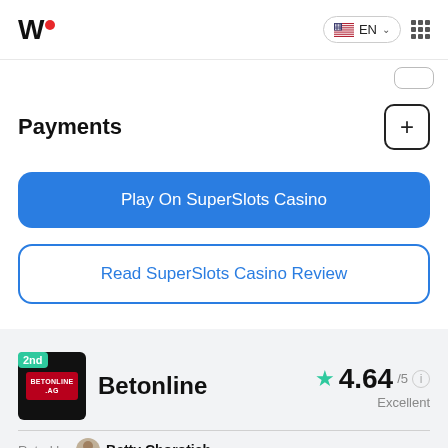W• EN
Payments
Play On SuperSlots Casino
Read SuperSlots Casino Review
2nd  Betonline  4.64/5  Excellent
Rated by  Betty Chorotich